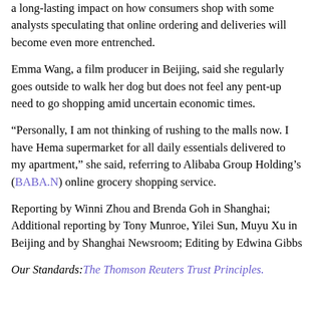a long-lasting impact on how consumers shop with some analysts speculating that online ordering and deliveries will become even more entrenched.
Emma Wang, a film producer in Beijing, said she regularly goes outside to walk her dog but does not feel any pent-up need to go shopping amid uncertain economic times.
“Personally, I am not thinking of rushing to the malls now. I have Hema supermarket for all daily essentials delivered to my apartment,” she said, referring to Alibaba Group Holding’s (BABA.N) online grocery shopping service.
Reporting by Winni Zhou and Brenda Goh in Shanghai; Additional reporting by Tony Munroe, Yilei Sun, Muyu Xu in Beijing and by Shanghai Newsroom; Editing by Edwina Gibbs
Our Standards: The Thomson Reuters Trust Principles.